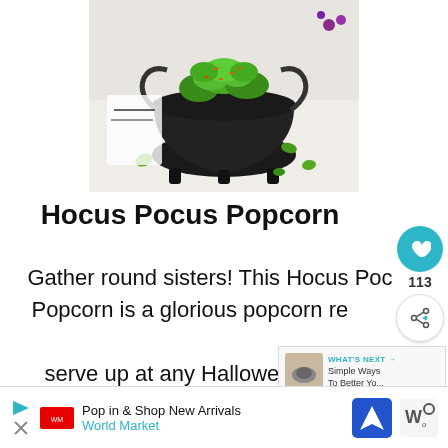[Figure (photo): A black cast iron cauldron filled with green-coated popcorn topped with orange sprinkles, sitting on a white surface with some popcorn scattered around it.]
Hocus Pocus Popcorn
Gather round sisters! This Hocus Pocus Popcorn is a glorious popcorn recipe to serve up at any Halloween party... Hocus Pocus Popcorn. One of my favorite things to...